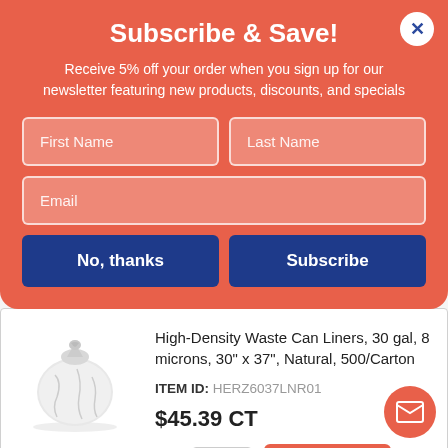Subscribe & Save!
Receive 5% off your order when you sign up for our newsletter featuring new products, discounts, and specials
First Name | Last Name | Email (form fields)
No, thanks | Subscribe (buttons)
High-Density Waste Can Liners, 30 gal, 8 microns, 30" x 37", Natural, 500/Carton
ITEM ID: HERZ6037LNR01
$45.39 CT
Qty 1 | Add to Cart